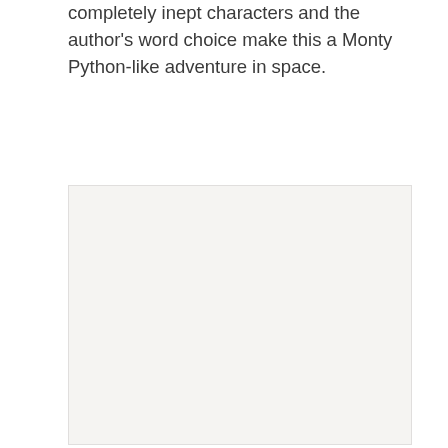completely inept characters and the author's word choice make this a Monty Python-like adventure in space.
[Figure (illustration): A large light beige/off-white rectangular image placeholder area occupying the lower portion of the page.]